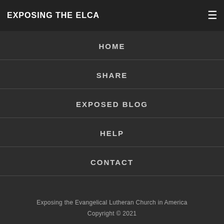EXPOSING THE ELCA
HOME
SHARE
EXPOSED BLOG
HELP
CONTACT
Exposing the Evangelical Lutheran Church in America
Copyright © 2021